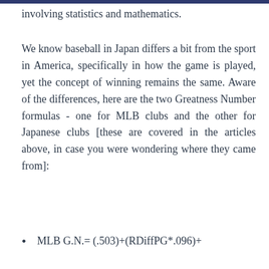involving statistics and mathematics.
We know baseball in Japan differs a bit from the sport in America, specifically in how the game is played, yet the concept of winning remains the same. Aware of the differences, here are the two Greatness Number formulas - one for MLB clubs and the other for Japanese clubs [these are covered in the articles above, in case you were wondering where they came from]:
MLB G.N.= (.503)+(RDiffPG*.096)+